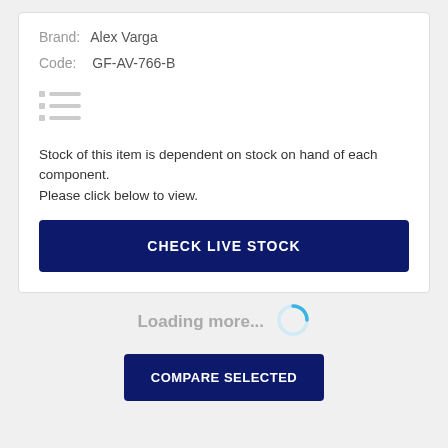Brand:  Alex Varga
Code:   GF-AV-766-B
[Figure (illustration): Small list/menu icon with three horizontal gray lines and small gray squares]
Stock of this item is dependent on stock on hand of each component.
Please click below to view.
CHECK LIVE STOCK
Loading more...
COMPARE SELECTED